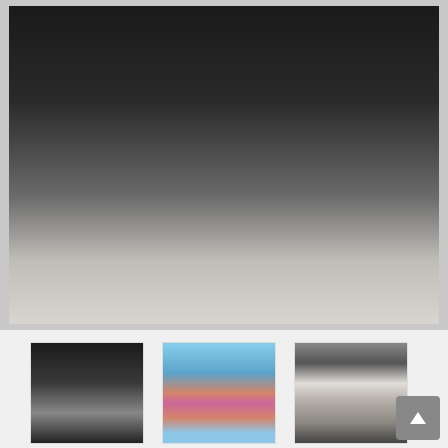[Figure (photo): Main large photo showing a person from behind wearing black clothing, standing on a light-colored floor with a door and pillow visible in background]
[Figure (photo): Thumbnail 1: person in black shiny leggings]
[Figure (photo): Thumbnail 2: person in pink bikini bottom outdoors with blue sky and rocky cliffs]
[Figure (photo): Thumbnail 3: person in gray leggings and white crop top indoors]